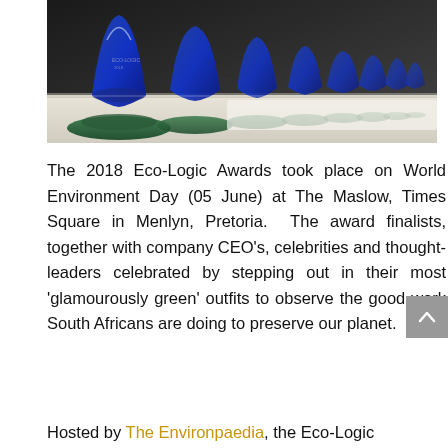[Figure (photo): A row of blue glass trophy awards with green bases lined up on a white table surface, photographed at an angle.]
The 2018 Eco-Logic Awards took place on World Environment Day (05 June) at The Maslow, Times Square in Menlyn, Pretoria. The award finalists, together with company CEO's, celebrities and thought-leaders celebrated by stepping out in their most 'glamourously green' outfits to observe the good work South Africans are doing to preserve our planet.
Hosted by The Environpaedia, the Eco-Logic